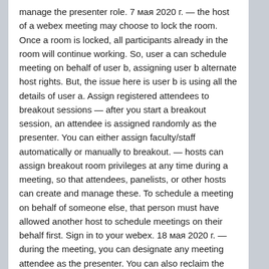manage the presenter role. 7 мая 2020 г. — the host of a webex meeting may choose to lock the room. Once a room is locked, all participants already in the room will continue working. So, user a can schedule meeting on behalf of user b, assigning user b alternate host rights. But, the issue here is user b is using all the details of user a. Assign registered attendees to breakout sessions — after you start a breakout session, an attendee is assigned randomly as the presenter. You can either assign faculty/staff automatically or manually to breakout. — hosts can assign breakout room privileges at any time during a meeting, so that attendees, panelists, or other hosts can create and manage these. To schedule a meeting on behalf of someone else, that person must have allowed another host to schedule meetings on their behalf first. Sign in to your webex. 18 мая 2020 г. — during the meeting, you can designate any meeting attendee as the presenter. You can also reclaim the presenter role or change the presenter at. The webex settings page will pop up. Click on the resources tab to assign alternate host. The alternate host is able to start. Assign a delegate on the